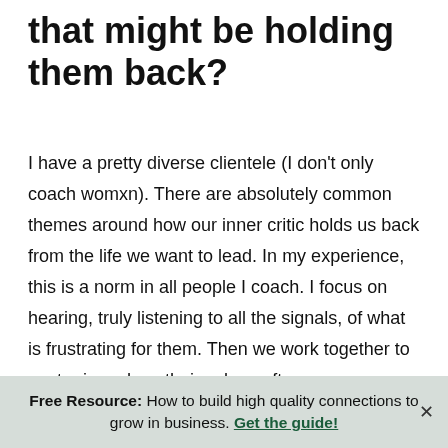that might be holding them back?
I have a pretty diverse clientele (I don't only coach womxn). There are absolutely common themes around how our inner critic holds us back from the life we want to lead. In my experience, this is a norm in all people I coach. I focus on hearing, truly listening to all the signals, of what is frustrating for them. Then we work together to center in on how their values often are compromised in those moments. We work through the inner critic voices in order to create new habits in those situations that hold you back. In times of stress, I encourage leaders to take deep breaths and notice where their body is holding
Free Resource: How to build high quality connections to grow in business. Get the guide!